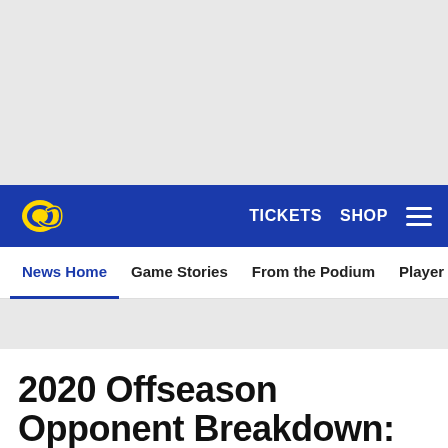[Figure (other): Advertisement / banner placeholder area (light gray background)]
TICKETS  SHOP  ☰
News Home  Game Stories  From the Podium  Player Features
2020 Offseason Opponent Breakdown: Tampa Bay B…
[Figure (other): Social share icons: Facebook, Twitter, Email, Link]